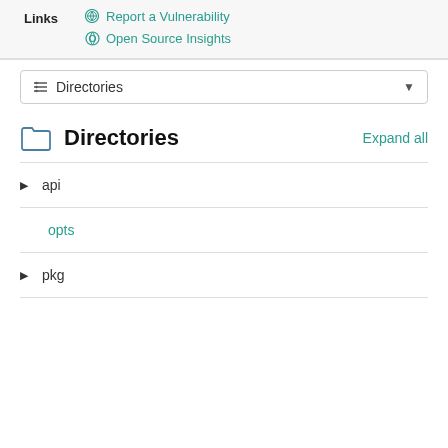Links
Report a Vulnerability
Open Source Insights
Directories (dropdown)
Directories
Expand all
api
opts
pkg